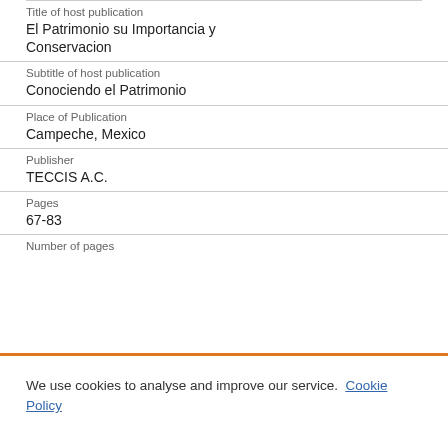| Title of host publication | El Patrimonio su Importancia y Conservacion |
| Subtitle of host publication | Conociendo el Patrimonio |
| Place of Publication | Campeche, Mexico |
| Publisher | TECCIS A.C. |
| Pages | 67-83 |
| Number of pages |  |
We use cookies to analyse and improve our service. Cookie Policy